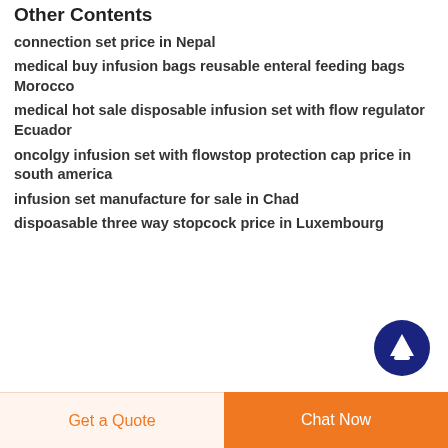Other Contents
connection set price in Nepal
medical buy infusion bags reusable enteral feeding bags Morocco
medical hot sale disposable infusion set with flow regulator Ecuador
oncolgy infusion set with flowstop protection cap price in south america
infusion set manufacture for sale in Chad
dispoasable three way stopcock price in Luxembourg